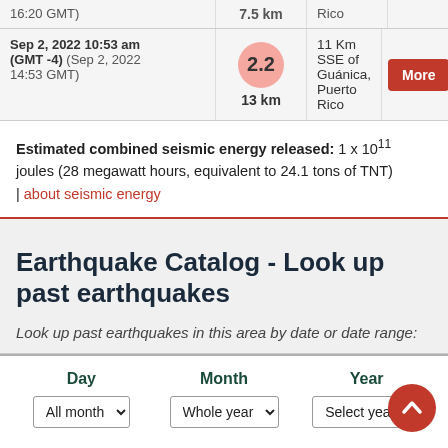| Date/Time | Magnitude/Depth | Location | Action |
| --- | --- | --- | --- |
| 16:20 GMT) | 7.5 km | Rico |  |
| Sep 2, 2022 10:53 am (GMT -4) (Sep 2, 2022 14:53 GMT) | 2.2 / 13 km | 11 Km SSE of Guánica, Puerto Rico | More |
Estimated combined seismic energy released: 1 x 10^11 joules (28 megawatt hours, equivalent to 24.1 tons of TNT) | about seismic energy
Earthquake Catalog - Look up past earthquakes
Look up past earthquakes in this area by date or date range:
| Day | Month | Year |
| --- | --- | --- |
| All month | Whole year | Select year |